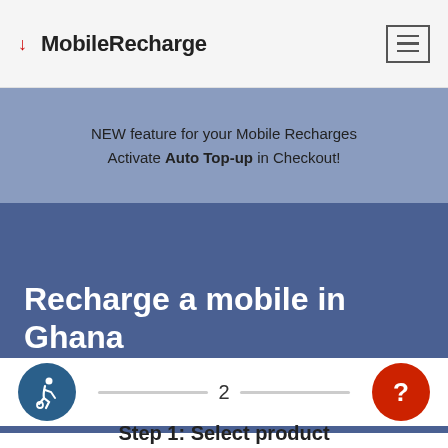MobileRecharge
NEW feature for your Mobile Recharges
Activate Auto Top-up in Checkout!
Recharge a mobile in Ghana
2
Step 1: Select product